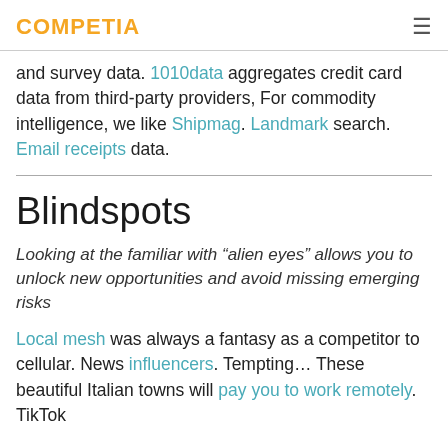COMPETIA
and survey data. 1010data aggregates credit card data from third-party providers, For commodity intelligence, we like Shipmag. Landmark search. Email receipts data.
Blindspots
Looking at the familiar with “alien eyes” allows you to unlock new opportunities and avoid missing emerging risks
Local mesh was always a fantasy as a competitor to cellular. News influencers. Tempting… These beautiful Italian towns will pay you to work remotely. TikTok